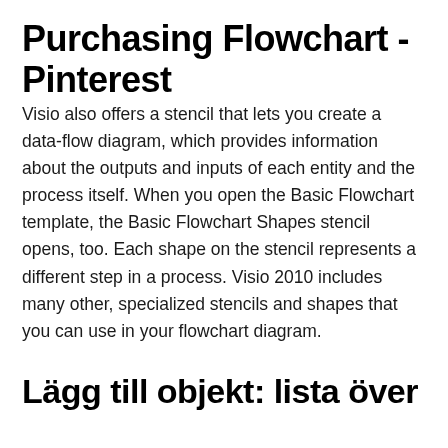Purchasing Flowchart - Pinterest
Visio also offers a stencil that lets you create a data-flow diagram, which provides information about the outputs and inputs of each entity and the process itself. When you open the Basic Flowchart template, the Basic Flowchart Shapes stencil opens, too. Each shape on the stencil represents a different step in a process. Visio 2010 includes many other, specialized stencils and shapes that you can use in your flowchart diagram.
Lägg till objekt: lista över